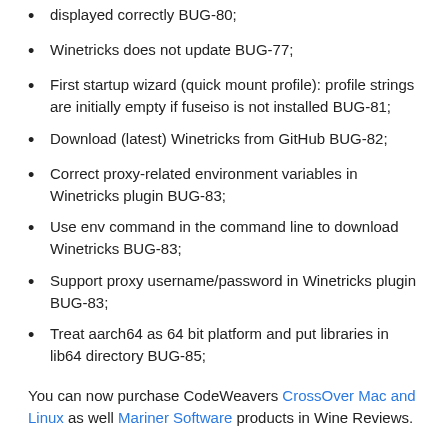displayed correctly BUG-80;
Winetricks does not update BUG-77;
First startup wizard (quick mount profile): profile strings are initially empty if fuseiso is not installed BUG-81;
Download (latest) Winetricks from GitHub BUG-82;
Correct proxy-related environment variables in Winetricks plugin BUG-83;
Use env command in the command line to download Winetricks BUG-83;
Support proxy username/password in Winetricks plugin BUG-83;
Treat aarch64 as 64 bit platform and put libraries in lib64 directory BUG-85;
You can now purchase CodeWeavers CrossOver Mac and Linux as well Mariner Software products in Wine Reviews.